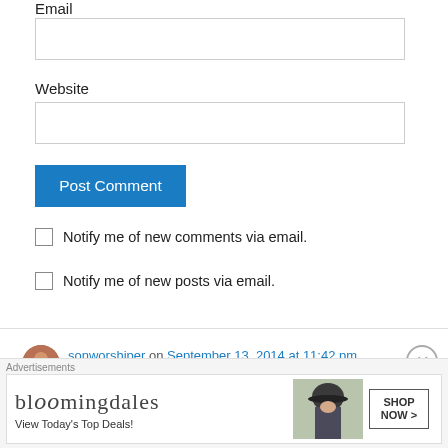Email
[Figure (screenshot): Empty email input text field]
Website
[Figure (screenshot): Empty website input text field]
Post Comment
Notify me of new comments via email.
Notify me of new posts via email.
sonworshiper on September 13, 2014 at 11:42 pm
Advertisements
[Figure (screenshot): Bloomingdale's advertisement banner with text 'View Today's Top Deals!' and 'SHOP NOW >']